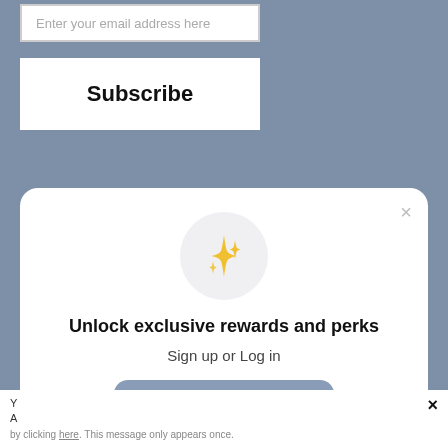Enter your email address here
Subscribe
[Figure (screenshot): Modal dialog with sparkle icon, title 'Unlock exclusive rewards and perks', subtitle 'Sign up or Log in', a 'Sign up' button, and 'Already have an account? Sign in' link]
Already have an account? Sign in
by clicking here. This message only appears once.